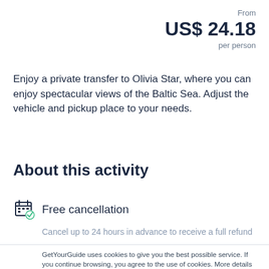From
US$ 24.18
per person
Enjoy a private transfer to Olivia Star, where you can enjoy spectacular views of the Baltic Sea. Adjust the vehicle and pickup place to your needs.
About this activity
Free cancellation
Cancel up to 24 hours in advance to receive a full refund
GetYourGuide uses cookies to give you the best possible service. If you continue browsing, you agree to the use of cookies. More details can be found in our privacy policy.